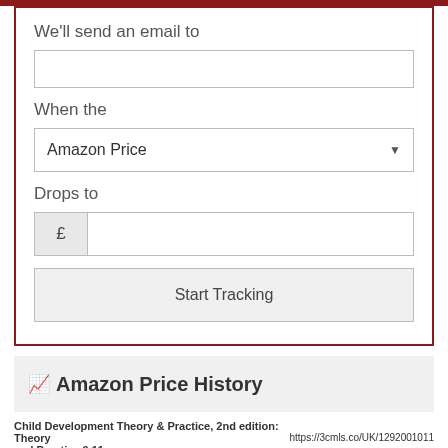We'll send an email to
When the
Amazon Price
Drops to
£
Start Tracking
Amazon Price History
Child Development Theory & Practice, 2nd edition: Theory and Practice 9 11
https://3cmls.co/UK/1292001011